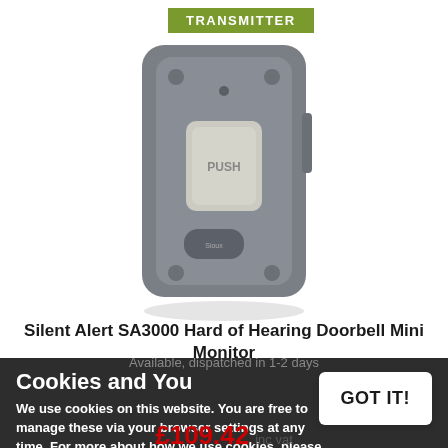[Figure (photo): Gray doorbell transmitter device with push button labeled PUSH, rounded rectangular shape with mounting corners, Sioux branding logo at bottom]
Silent Alert SA3000 Hard of Hearing Doorbell Mini Monitor
Cookies and You
We use cookies on this website. You are free to manage these via your browser settings at any time. For more about how we use cookies, please see our Cookie Policy.
GOT IT!
Available, dispatched in 1-2 days
£109.42 inc vat